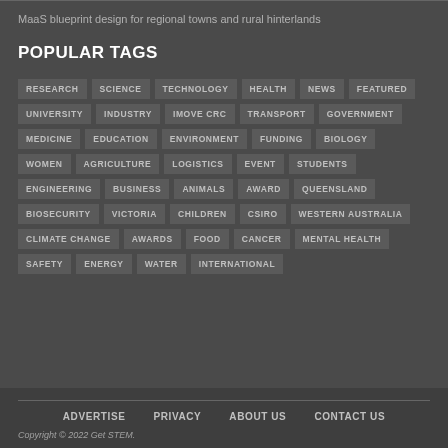MaaS blueprint design for regional towns and rural hinterlands
POPULAR TAGS
RESEARCH
SCIENCE
TECHNOLOGY
HEALTH
NEWS
FEATURED
UNIVERSITY
INDUSTRY
IMOVE CRC
TRANSPORT
GOVERNMENT
MEDICINE
EDUCATION
ENVIRONMENT
FUNDING
BIOLOGY
WOMEN
AGRICULTURE
LOGISTICS
EVENT
STUDENTS
ENGINEERING
BUSINESS
ANIMALS
AWARD
QUEENSLAND
BIOSECURITY
VICTORIA
CHILDREN
CSIRO
WESTERN AUSTRALIA
CLIMATE CHANGE
AWARDS
FOOD
CANCER
MENTAL HEALTH
SAFETY
ENERGY
WATER
INTERNATIONAL
ADVERTISE   PRIVACY   ABOUT US   CONTACT US
Copyright © 2022 Get STEM.